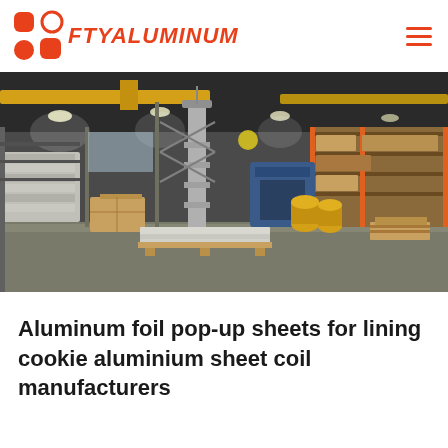[Figure (logo): FTY Aluminum logo with orange icon and red italic text]
[Figure (photo): Interior of a large industrial aluminum manufacturing warehouse with yellow overhead cranes, metal shelving, stacked aluminum sheets and pallets, and heavy machinery]
Aluminum foil pop-up sheets for lining cookie aluminium sheet coil manufacturers